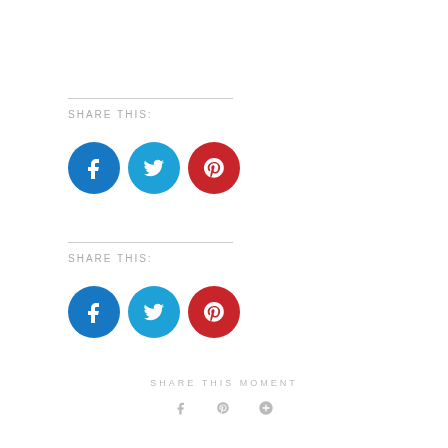SHARE THIS:
[Figure (infographic): Three social share icon circles: Facebook (blue), Twitter (cyan), Pinterest (red)]
SHARE THIS:
[Figure (infographic): Three social share icon circles: Facebook (blue), Twitter (cyan), Pinterest (red)]
SHARE THIS MOMENT
[Figure (infographic): Small social icons: Facebook, Pinterest, Google+]